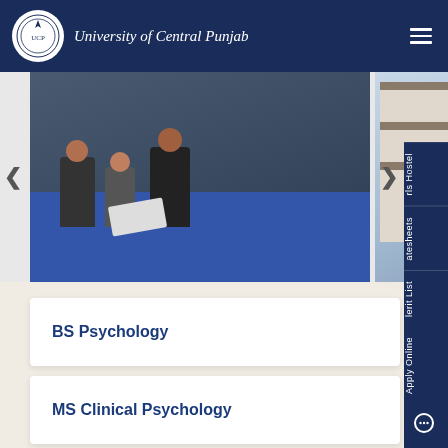University of Central Punjab
[Figure (photo): Two photos side by side: left shows students sitting on a blue floor reading/studying together in a library setting; right shows a female student standing in a library with bookshelves in background.]
BS Psychology
MS Clinical Psychology
PhD Psychology